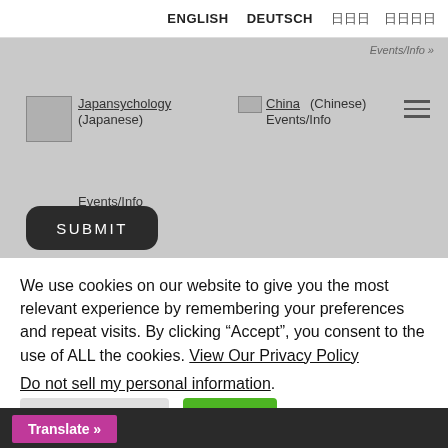ENGLISH   DEUTSCH   日本語   한국어
[Figure (screenshot): Greyed-out navigation area showing JapanPsychology and China (Chinese) Events/Info links with a hamburger menu icon and logo placeholder]
[Figure (screenshot): Dark rounded SUBMIT button]
We use cookies on our website to give you the most relevant experience by remembering your preferences and repeat visits. By clicking “Accept”, you consent to the use of ALL the cookies. View Our Privacy Policy
Do not sell my personal information.
Cookie Settings   Accept
Translate »